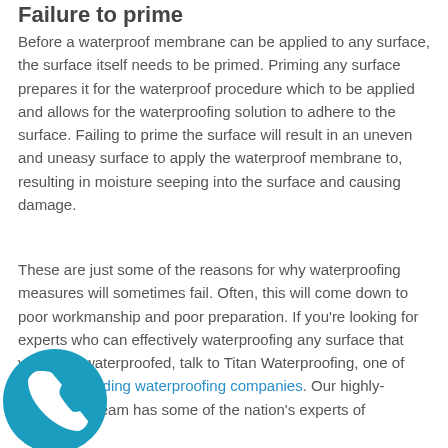Failure to prime
Before a waterproof membrane can be applied to any surface, the surface itself needs to be primed. Priming any surface prepares it for the waterproof procedure which to be applied and allows for the waterproofing solution to adhere to the surface. Failing to prime the surface will result in an uneven and uneasy surface to apply the waterproof membrane to, resulting in moisture seeping into the surface and causing damage.
These are just some of the reasons for why waterproofing measures will sometimes fail. Often, this will come down to poor workmanship and poor preparation. If you're looking for experts who can effectively waterproofing any surface that you need waterproofed, talk to Titan Waterproofing, one of Sydney's leading waterproofing companies. Our highly-experience team has some of the nation's experts of
[Figure (logo): Teal circular phone/call icon in the bottom-left corner]